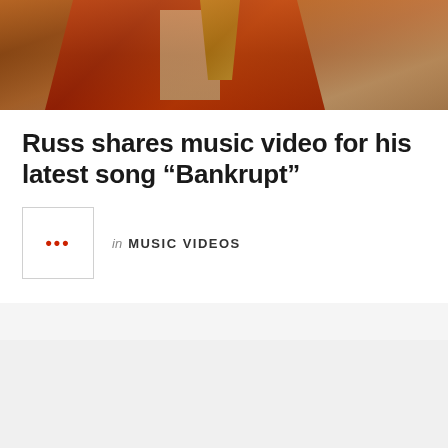[Figure (photo): Photo of a person wearing a red and gold jacket, outdoor setting with warm sunset lighting]
Russ shares music video for his latest song “Bankrupt”
in MUSIC VIDEOS